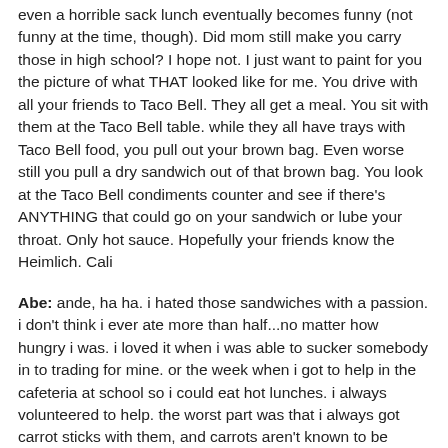even a horrible sack lunch eventually becomes funny (not funny at the time, though). Did mom still make you carry those in high school? I hope not. I just want to paint for you the picture of what THAT looked like for me. You drive with all your friends to Taco Bell. They all get a meal. You sit with them at the Taco Bell table. while they all have trays with Taco Bell food, you pull out your brown bag. Even worse still you pull a dry sandwich out of that brown bag. You look at the Taco Bell condiments counter and see if there's ANYTHING that could go on your sandwich or lube your throat. Only hot sauce. Hopefully your friends know the Heimlich. Cali
Abe: ande, ha ha. i hated those sandwiches with a passion. i don't think i ever ate more than half...no matter how hungry i was. i loved it when i was able to sucker somebody in to trading for mine. or the week when i got to help in the cafeteria at school so i could eat hot lunches. i always volunteered to help. the worst part was that i always got carrot sticks with them, and carrots aren't known to be super juicy. so after eating a dry sandwich, i would have to try and choke down carrots. i never ate more than half my carrots